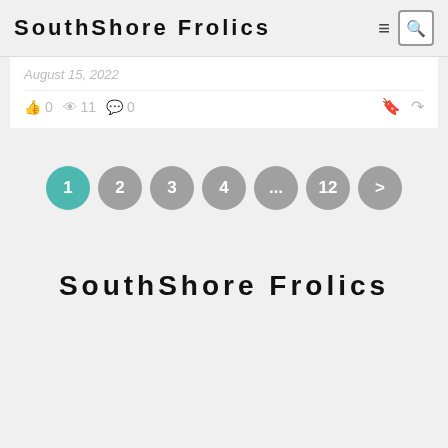SouthShore Frolics
August 15, 2022
0  11  0
1 2 3 4 ... 12 >
SouthShore Frolics